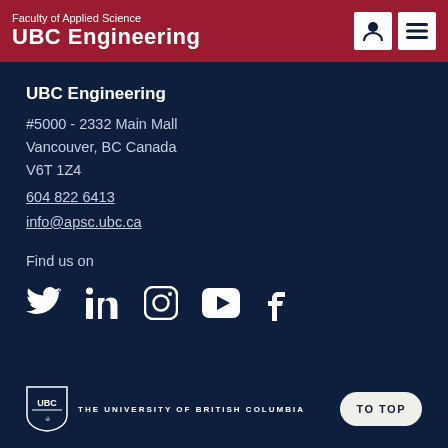Faculty of Applied Science
UBC Engineering
UBC Engineering
#5000 - 2332 Main Mall
Vancouver, BC Canada
V6T 1Z4
604 822 6413
info@apsc.ubc.ca
Find us on
[Figure (infographic): Social media icons: Twitter, LinkedIn, Instagram, YouTube, Facebook]
[Figure (logo): UBC shield logo with text THE UNIVERSITY OF BRITISH COLUMBIA]